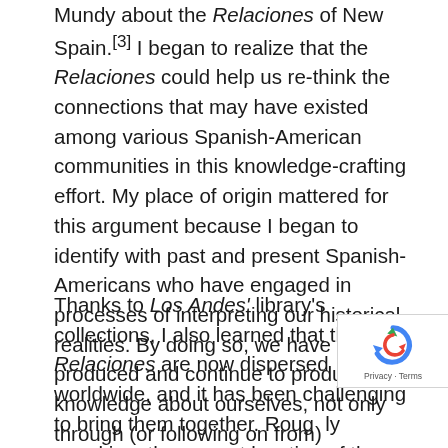Mundy about the Relaciones of New Spain.[3] I began to realize that the Relaciones could help us re-think the connections that may have existed among various Spanish-American communities in this knowledge-crafting effort. My place of origin mattered for this argument because I began to identify with past and present Spanish-Americans who have engaged in processes of interpreting our historical realities. By doing so, we have produced and continue to produce knowledge about ourselves, not only through (or following on from) European and U.S.-American academic views.
Thanks to Los Andes' library's collections, I also learned that the Relaciones are now dispersed worldwide, and it has been challenging to bring them together. Roughly speaking, the current location of these documents depends on the place they described. I learned that the